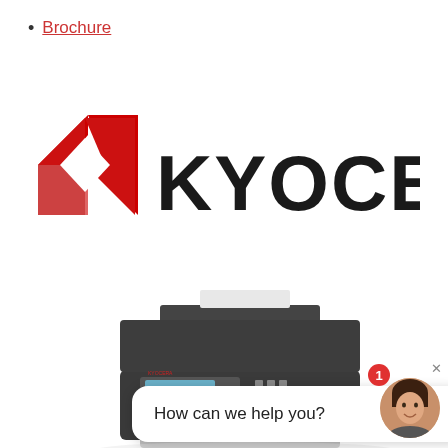Brochure
[Figure (logo): Kyocera logo with red geometric diamond symbol on the left and bold black KYOCERA text on the right]
[Figure (photo): Kyocera multifunction printer/copier device, dark grey, with document feeder open at top and a touchscreen control panel]
[Figure (screenshot): Chat widget showing speech bubble with text 'How can we help you?' and a circular avatar photo of a smiling woman, with a red notification badge showing '1']